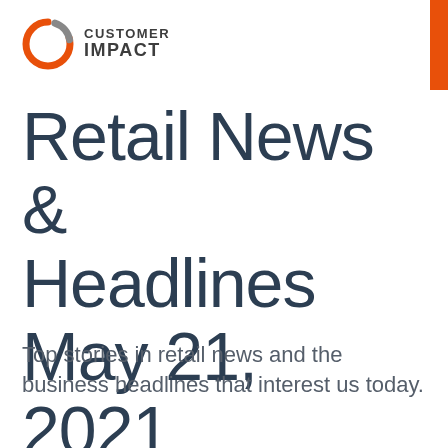[Figure (logo): Customer Impact logo with orange circular icon and bold text]
Retail News & Headlines May 21, 2021
Top stories in retail news and the business headlines that interest us today.